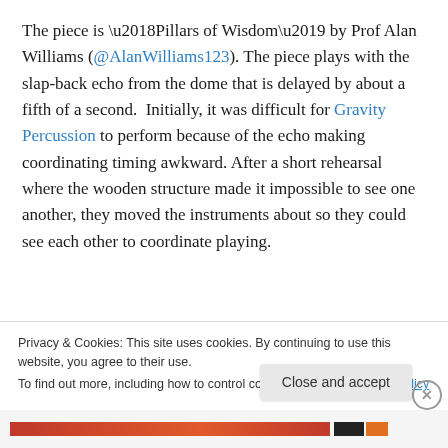The piece is ‘Pillars of Wisdom’ by Prof Alan Williams (@AlanWilliams123). The piece plays with the slap-back echo from the dome that is delayed by about a fifth of a second. Initially, it was difficult for Gravity Percussion to perform because of the echo making coordinating timing awkward. After a short rehearsal where the wooden structure made it impossible to see one another, they moved the instruments about so they could see each other to coordinate playing.
In fact, depending on where you heard the piece, the two
Privacy & Cookies: This site uses cookies. By continuing to use this website, you agree to their use.
To find out more, including how to control cookies, see here: Cookie Policy
Close and accept